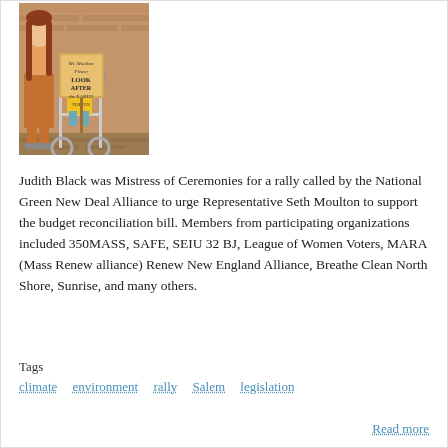[Figure (photo): Photo of a child in a stroller/wheelchair holding a sign that reads 'Mr. Moulton Please LOOK AFTER the EARTH FOR US', with an adult woman standing beside them on a brick surface.]
Judith Black was Mistress of Ceremonies for a rally called by the National Green New Deal Alliance to urge Representative Seth Moulton to support the budget reconciliation bill. Members from participating organizations included 350MASS, SAFE, SEIU 32 BJ, League of Women Voters, MARA (Mass Renew alliance) Renew New England Alliance, Breathe Clean North Shore, Sunrise, and many others.
Tags
climate
environment
rally
Salem
legislation
Read more